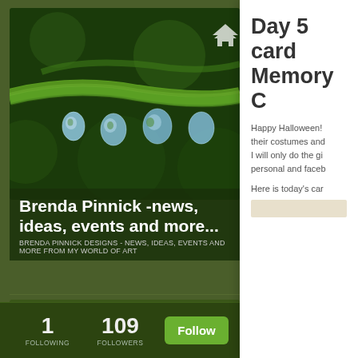[Figure (photo): Close-up photo of green plant stem with water droplets hanging from it, dark green bokeh background]
Brenda Pinnick -news, ideas, events and more...
BRENDA PINNICK DESIGNS - NEWS, IDEAS, EVENTS AND MORE FROM MY WORLD OF ART
[Figure (photo): Profile photo of Brenda Pinnick, a woman with brown hair outdoors]
Brenda Pinnick
Brenda Pinnick Designs, Inc.
Artist, Designer, Teacher, Speaker and Color Guru
1
FOLLOWING
109
FOLLOWERS
Follow
Day 5 card Memory C
Happy Halloween! their costumes and I will only do the gi personal and faceb
Here is today's car